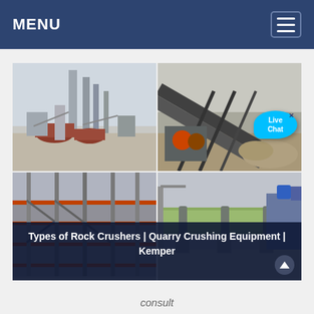MENU
[Figure (photo): Four-panel image grid showing industrial quarry and rock crushing equipment: top-left shows a large cement/industrial plant with silos and red dome structures in a desert setting; top-right shows a rock crushing and conveyor belt system at a quarry; bottom-left shows a steel frame industrial processing structure; bottom-right shows a large rotary drum/kiln at an industrial facility. A Live Chat bubble overlay appears on the top-right image.]
Types of Rock Crushers | Quarry Crushing Equipment | Kemper
consult